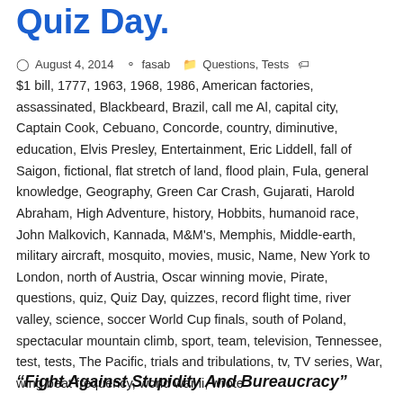Quiz Day.
August 4, 2014   fasab   Questions, Tests   $1 bill, 1777, 1963, 1968, 1986, American factories, assassinated, Blackbeard, Brazil, call me Al, capital city, Captain Cook, Cebuano, Concorde, country, diminutive, education, Elvis Presley, Entertainment, Eric Liddell, fall of Saigon, fictional, flat stretch of land, flood plain, Fula, general knowledge, Geography, Green Car Crash, Gujarati, Harold Abraham, High Adventure, history, Hobbits, humanoid race, John Malkovich, Kannada, M&M's, Memphis, Middle-earth, military aircraft, mosquito, movies, music, Name, New York to London, north of Austria, Oscar winning movie, Pirate, questions, quiz, Quiz Day, quizzes, record flight time, river valley, science, soccer World Cup finals, south of Poland, spectacular mountain climb, sport, team, television, Tennessee, test, tests, The Pacific, trials and tribulations, tv, TV series, War, wing beat frequency, world war ii, wrote
“Fight Against Stupidity And Bureaucracy”